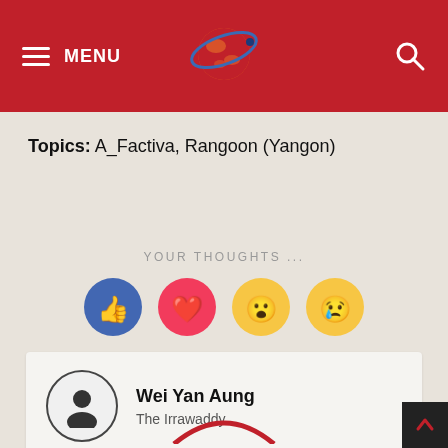MENU | Irrawaddy Logo | Search
Topics: A_Factiva, Rangoon (Yangon)
YOUR THOUGHTS ...
[Figure (illustration): Four reaction buttons: thumbs up (blue), heart (red/pink), wow face emoji (yellow), sad face emoji (yellow)]
Wei Yan Aung
The Irrawaddy